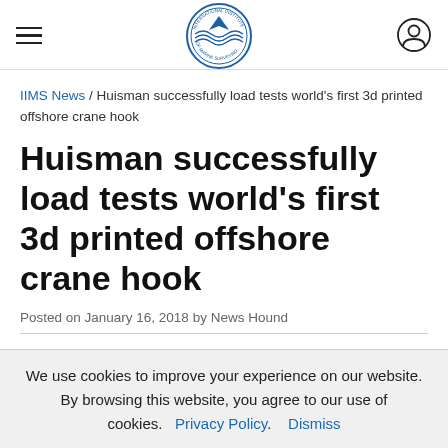[Figure (logo): IIMS International Institute of Marine Surveying circular logo with ship/navigation imagery in blue]
IIMS News / Huisman successfully load tests world's first 3d printed offshore crane hook
Huisman successfully load tests world's first 3d printed offshore crane hook
Posted on January 16, 2018 by News Hound
We use cookies to improve your experience on our website. By browsing this website, you agree to our use of cookies. Privacy Policy. Dismiss